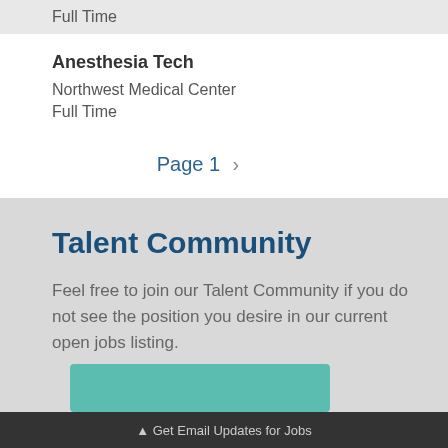Full Time
Anesthesia Tech
Northwest Medical Center
Full Time
Page 1 >
Talent Community
Feel free to join our Talent Community if you do not see the position you desire in our current open jobs listing.
▲ Get Email Updates for Jobs